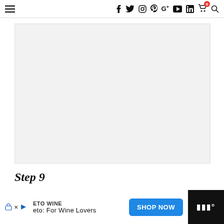Navigation bar with hamburger menu and social/cart icons
[Figure (photo): Large light gray image placeholder block]
Step 9
Bake.
[Figure (screenshot): Advertisement bar: ETO WINE - eto: For Wine Lovers - SHOP NOW button - Millennial logo on dark background]